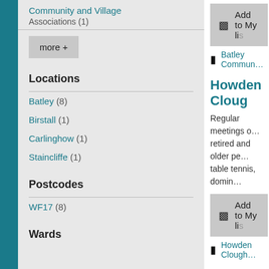Community and Village Associations (1)
more +
Locations
Batley (8)
Birstall (1)
Carlinghow (1)
Staincliffe (1)
Postcodes
WF17 (8)
Wards
Add to My list
Batley Commun…
Howden Cloug…
Regular meetings of retired and older pe… table tennis, domin…
Add to My list
Howden Clough…
Indian Muslim…
First established in… instrumental in the…